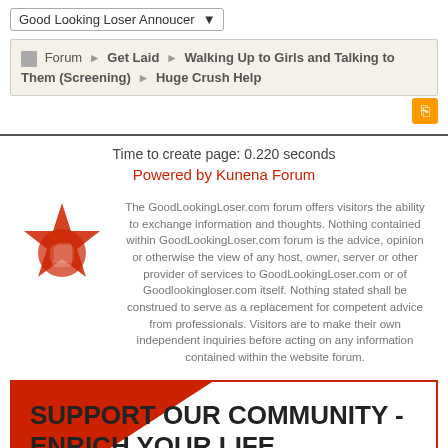Good Looking Loser Annoucer
Forum ▶ Get Laid ▶ Walking Up to Girls and Talking to Them (Screening) ▶ Huge Crush Help
Time to create page: 0.220 seconds
Powered by Kunena Forum
[Figure (logo): GoodLookingLoser.com red star and fist logo]
The GoodLookingLoser.com forum offers visitors the ability to exchange information and thoughts. Nothing contained within GoodLookingLoser.com forum is the advice, opinion or otherwise the view of any host, owner, server or other provider of services to GoodLookingLoser.com or of Goodlookingloser.com itself. Nothing stated shall be construed to serve as a replacement for competent advice from professionals. Visitors are to make their own independent inquiries before acting on any information contained within the website forum.
SUPPORT OUR COMMUNITY - ENRICH YOUR LIFE
(about these suggestions)